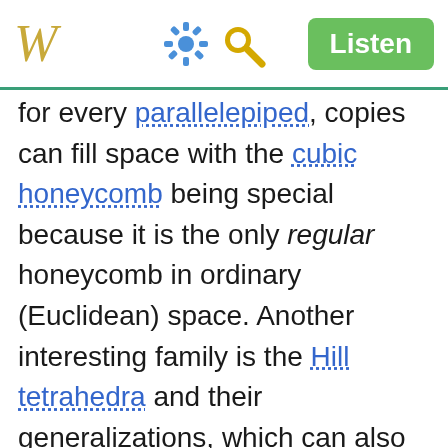W [settings icon] [search icon] Listen
for every parallelepiped, copies can fill space with the cubic honeycomb being special because it is the only regular honeycomb in ordinary (Euclidean) space. Another interesting family is the Hill tetrahedra and their generalizations, which can also tile the space.
Uniform 3-honeycombs
A 3-dimensional uniform honeycomb is a